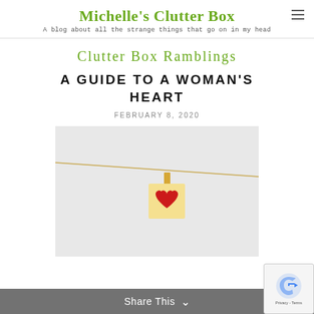Michelle's Clutter Box - A blog about all the strange things that go on in my head
Clutter Box Ramblings
A GUIDE TO A WOMAN'S HEART
FEBRUARY 8, 2020
[Figure (photo): A small square note card with a red heart hanging from a string by a miniature clothespin, against a white background]
Share This